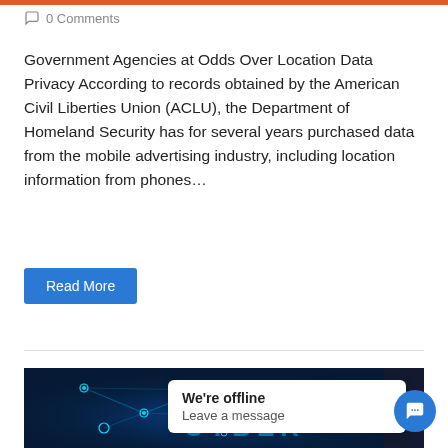0 Comments
Government Agencies at Odds Over Location Data Privacy According to records obtained by the American Civil Liberties Union (ACLU), the Department of Homeland Security has for several years purchased data from the mobile advertising industry, including location information from phones…
Read More
[Figure (photo): Dark blue background with glowing cyan network nodes and connection lines representing a cyber/digital network. Text 'CYBER' partially visible in the center.]
We're offline
Leave a message